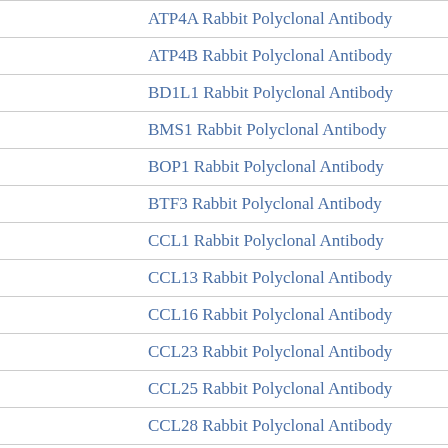ATP4A Rabbit Polyclonal Antibody
ATP4B Rabbit Polyclonal Antibody
BD1L1 Rabbit Polyclonal Antibody
BMS1 Rabbit Polyclonal Antibody
BOP1 Rabbit Polyclonal Antibody
BTF3 Rabbit Polyclonal Antibody
CCL1 Rabbit Polyclonal Antibody
CCL13 Rabbit Polyclonal Antibody
CCL16 Rabbit Polyclonal Antibody
CCL23 Rabbit Polyclonal Antibody
CCL25 Rabbit Polyclonal Antibody
CCL28 Rabbit Polyclonal Antibody
CDK14 Rabbit Polyclonal Antibody